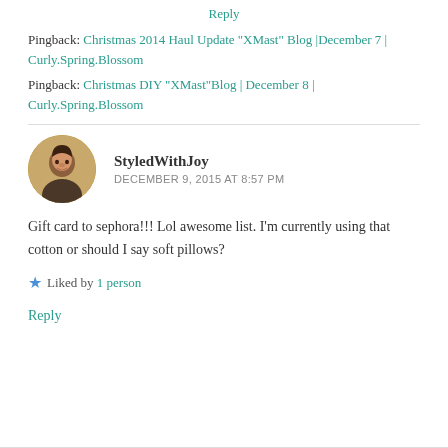Reply
Pingback: Christmas 2014 Haul Update "XMast" Blog |December 7 | Curly.Spring.Blossom
Pingback: Christmas DIY "XMast"Blog | December 8 | Curly.Spring.Blossom
[Figure (photo): Round avatar photo of commenter StyledWithJoy, a young woman smiling]
StyledWithJoy
DECEMBER 9, 2015 AT 8:57 PM
Gift card to sephora!!! Lol awesome list. I'm currently using that cotton or should I say soft pillows?
Liked by 1 person
Reply